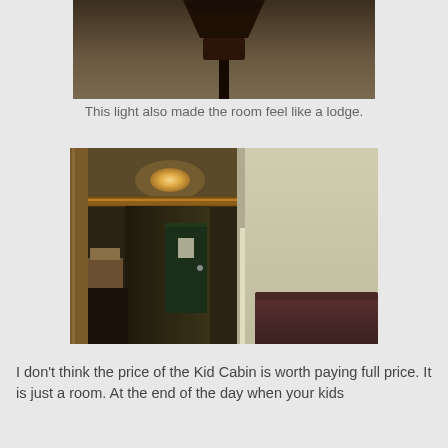[Figure (photo): Close-up photo of a decorative dark wood lamp top against a tan/brown wall, lodge-style fixture]
This light also made the room feel like a lodge.
[Figure (photo): Interior photo of a hotel/motel room showing a hallway with a dark teal door, warm ceiling light, decorative border strip, and a bed on the right side with a dark red/maroon bedspread]
I don't think the price of the Kid Cabin is worth paying full price. It is just a room. At the end of the day when your kids